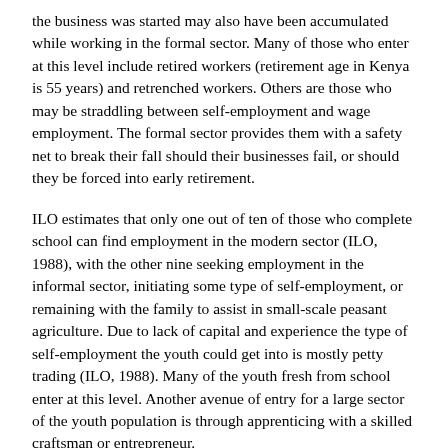the business was started may also have been accumulated while working in the formal sector. Many of those who enter at this level include retired workers (retirement age in Kenya is 55 years) and retrenched workers. Others are those who may be straddling between self-employment and wage employment. The formal sector provides them with a safety net to break their fall should their businesses fail, or should they be forced into early retirement.
ILO estimates that only one out of ten of those who complete school can find employment in the modern sector (ILO, 1988), with the other nine seeking employment in the informal sector, initiating some type of self-employment, or remaining with the family to assist in small-scale peasant agriculture. Due to lack of capital and experience the type of self-employment the youth could get into is mostly petty trading (ILO, 1988). Many of the youth fresh from school enter at this level. Another avenue of entry for a large sector of the youth population is through apprenticing with a skilled craftsman or entrepreneur.